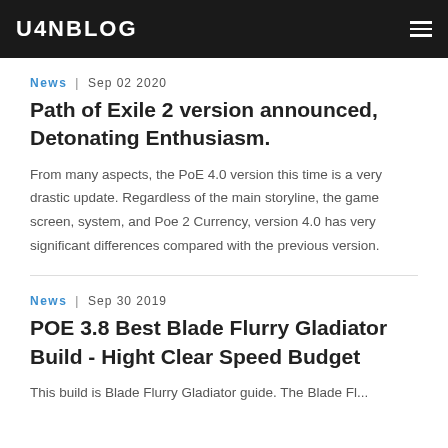U4NBLOG
News  |  Sep 02 2020
Path of Exile 2 version announced, Detonating Enthusiasm.
From many aspects, the PoE 4.0 version this time is a very drastic update. Regardless of the main storyline, the game screen, system, and Poe 2 Currency, version 4.0 has very significant differences compared with the previous version.
News  |  Sep 30 2019
POE 3.8 Best Blade Flurry Gladiator Build - Hight Clear Speed Budget
This build is Blade Flurry Gladiator guide. The Blade Fl...